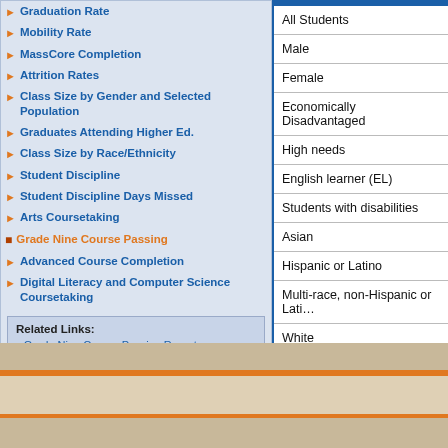Graduation Rate
Mobility Rate
MassCore Completion
Attrition Rates
Class Size by Gender and Selected Population
Graduates Attending Higher Ed.
Class Size by Race/Ethnicity
Student Discipline
Student Discipline Days Missed
Arts Coursetaking
Grade Nine Course Passing
Advanced Course Completion
Digital Literacy and Computer Science Coursetaking
Related Links:
• Grade Nine Course Passing Report
| All Students |
| Male |
| Female |
| Economically Disadvantaged |
| High needs |
| English learner (EL) |
| Students with disabilities |
| Asian |
| Hispanic or Latino |
| Multi-race, non-Hispanic or Latino |
| White |